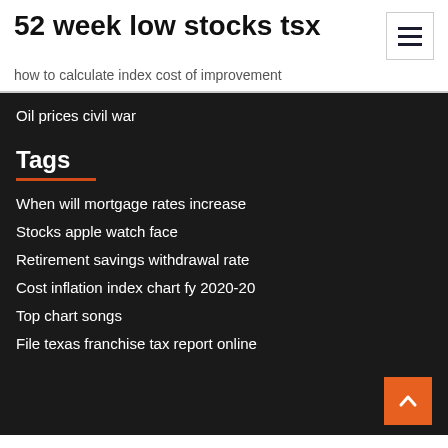52 week low stocks tsx
how to calculate index cost of improvement
Oil prices civil war
Tags
When will mortgage rates increase
Stocks apple watch face
Retirement savings withdrawal rate
Cost inflation index chart fy 2020-20
Top chart songs
File texas franchise tax report online